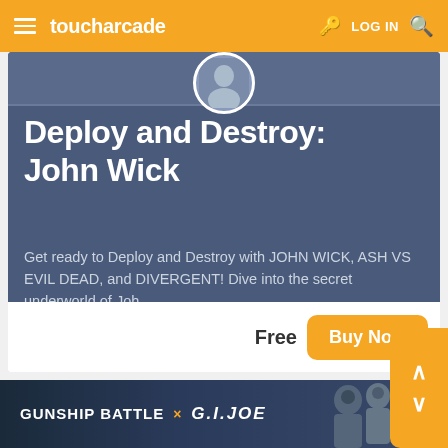toucharcade  LOG IN
Deploy and Destroy: John Wick
Get ready to Deploy and Destroy with JOHN WICK, ASH VS EVIL DEAD, and DIVERGENT! Dive into the secret underworld of Joh...
Free  Buy Now
[Figure (screenshot): Ad banner for Gunship Battle x G.I. Joe with soldier characters on dark background]